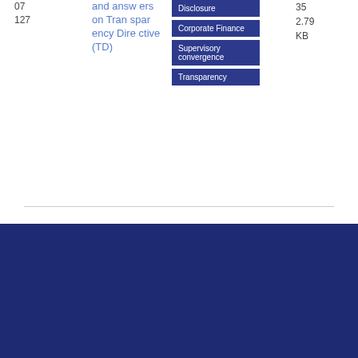07
127
and answers on Transparency Directive (TD)
Disclosure
Corporate Finance
Supervisory convergence
Transparency
35
2.79 KB
Cookie policy  Legal notice
Data protection  Sitemap
Careers  FAQ  Glossary